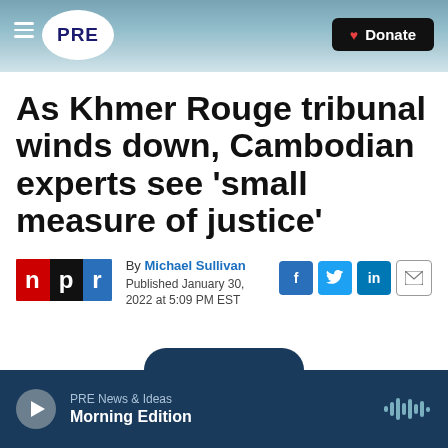PRE — Donate
As Khmer Rouge tribunal winds down, Cambodian experts see 'small measure of justice'
By Michael Sullivan
Published January 30, 2022 at 5:09 PM EST
[Figure (logo): NPR logo with n in red, p in black, r in blue]
[Figure (infographic): Social share buttons: Facebook, Twitter, LinkedIn, Email]
PRE News & Ideas
Morning Edition